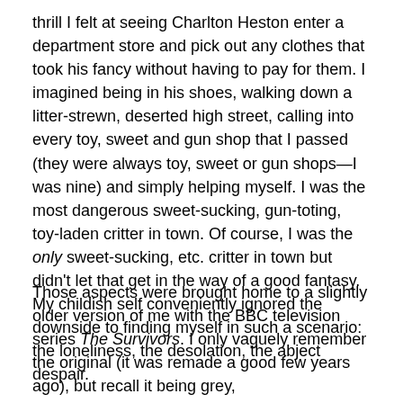thrill I felt at seeing Charlton Heston enter a department store and pick out any clothes that took his fancy without having to pay for them. I imagined being in his shoes, walking down a litter-strewn, deserted high street, calling into every toy, sweet and gun shop that I passed (they were always toy, sweet or gun shops—I was nine) and simply helping myself. I was the most dangerous sweet-sucking, gun-toting, toy-laden critter in town. Of course, I was the only sweet-sucking, etc. critter in town but didn't let that get in the way of a good fantasy. My childish self conveniently ignored the downside to finding myself in such a scenario: the loneliness, the desolation, the abject despair.
Those aspects were brought home to a slightly older version of me with the BBC television series The Survivors. I only vaguely remember the original (it was remade a good few years ago), but recall it being grey,